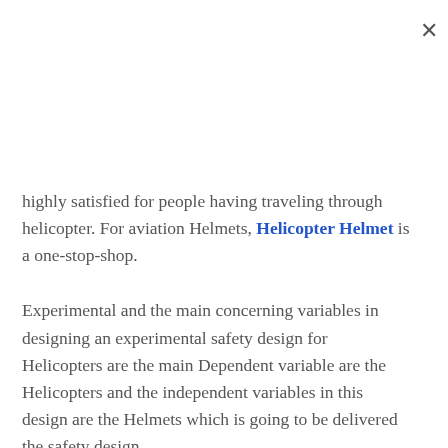highly satisfied for people having traveling through helicopter. For aviation Helmets, Helicopter Helmet is a one-stop-shop.
Experimental and the main concerning variables in designing an experimental safety design for Helicopters are the main Dependent variable are the Helicopters and the independent variables in this design are the Helmets which is going to be delivered the safety design.
This experimental design is going to establish for the Helicopters who have to take safety